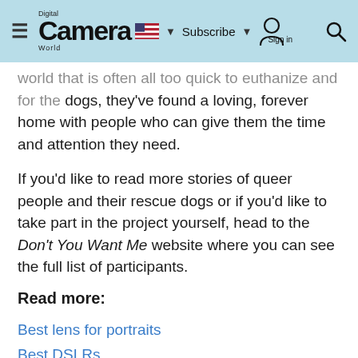Digital Camera World — Subscribe | Sign in
world that is often all too quick to euthanize and for the dogs, they've found a loving, forever home with people who can give them the time and attention they need.
If you'd like to read more stories of queer people and their rescue dogs or if you'd like to take part in the project yourself, head to the Don't You Want Me website where you can see the full list of participants.
Read more:
Best lens for portraits
Best DSLRs
Best Black Friday camera deals
10 pet photography tips